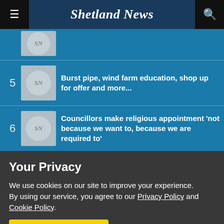Shetland News
[Figure (logo): SN logo thumbnail (partial item)]
5 Burst pipe, wind farm education, shop up for offer and more...
6 Councillors make religious appointment 'not because we want to, because we are required to'
Your Privacy
We use cookies on our site to improve your experience.
By using our service, you agree to our Privacy Policy and Cookie Policy.
I'm OK with that